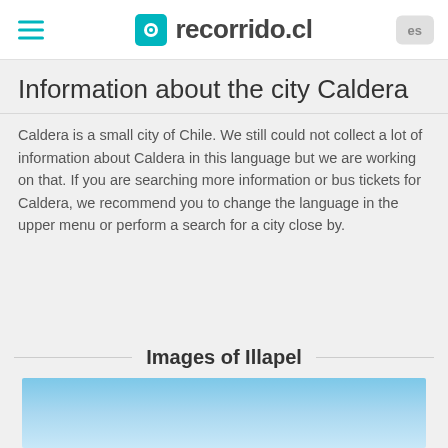recorrido.cl
Information about the city Caldera
Caldera is a small city of Chile. We still could not collect a lot of information about Caldera in this language but we are working on that. If you are searching more information or bus tickets for Caldera, we recommend you to change the language in the upper menu or perform a search for a city close by.
Images of Illapel
[Figure (photo): Sky photo of Illapel, blue gradient sky]